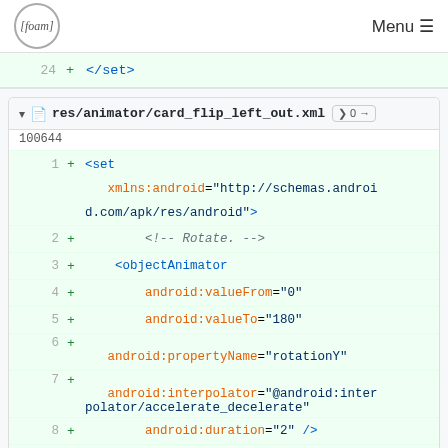[foam] Menu
24  + </set>
res/animator/card_flip_left_out.xml  0 →  100644
1  + <set xmlns:android="http://schemas.android.com/apk/res/android">
2  +     <!-- Rotate. -->
3  +     <objectAnimator
4  +         android:valueFrom="0"
5  +         android:valueTo="180"
6  +
     android:propertyName="rotationY"
7  +
     android:interpolator="@android:interpolator/accelerate_decelerate"
8  +         android:duration="2" />
9  +
10 +     <!-- Half-way through the